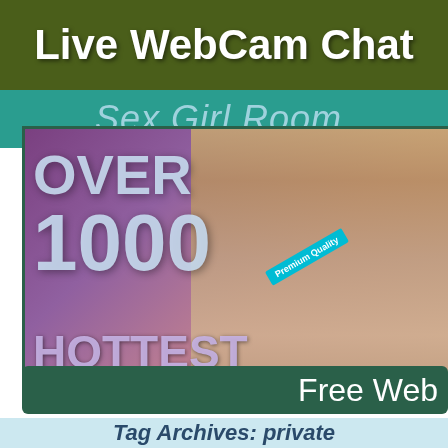Live WebCam Chat
Sex Girl Room.
[Figure (photo): Promotional banner showing 'OVER 1000 HOTTEST' text overlay on a photo of a blonde woman]
Free Web
Tag Archives: private